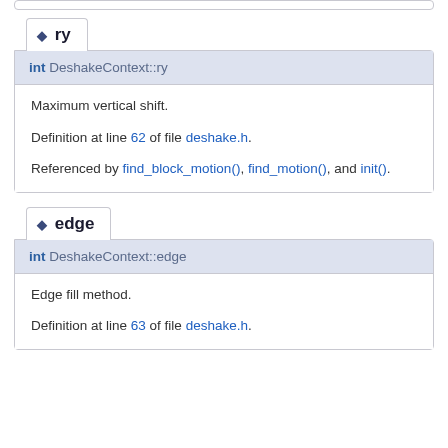◆ ry
int DeshakeContext::ry
Maximum vertical shift.
Definition at line 62 of file deshake.h.
Referenced by find_block_motion(), find_motion(), and init().
◆ edge
int DeshakeContext::edge
Edge fill method.
Definition at line 63 of file deshake.h.